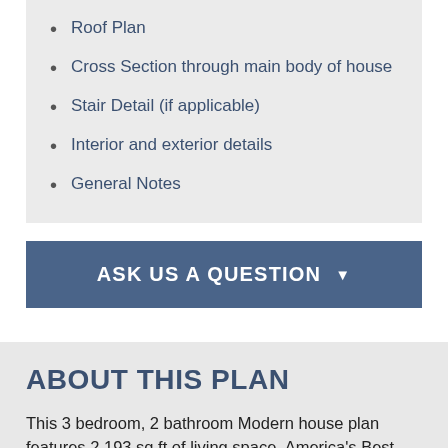Roof Plan
Cross Section through main body of house
Stair Detail (if applicable)
Interior and exterior details
General Notes
ASK US A QUESTION
ABOUT THIS PLAN
This 3 bedroom, 2 bathroom Modern house plan features 2,193 sq ft of living space. America's Best House Plans offers high quality plans from professional architects and home designers